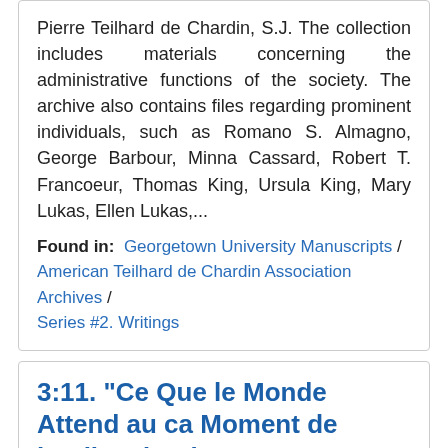Pierre Teilhard de Chardin, S.J. The collection includes materials concerning the administrative functions of the society. The archive also contains files regarding prominent individuals, such as Romano S. Almagno, George Barbour, Minna Cassard, Robert T. Francoeur, Thomas King, Ursula King, Mary Lukas, Ellen Lukas,...
Found in: Georgetown University Manuscripts / American Teilhard de Chardin Association Archives / Series #2. Writings
3:11. "Ce Que le Monde Attend au ca Moment de l'Eglise de Dieu.", 1952.
File – Box: 3, Folder: 11
Scope and contents note The American Teilhard de Chardin Association Archives document the activities of a major organization devoted to preserving the writings and legacy of the noted French Jesuit Rev. Pierre Teilhard de Chardin, S.J. The collection includes materials concerning the administrative functions of the society. The archive also contains